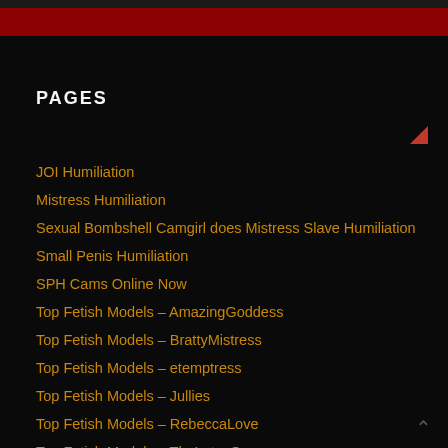PAGES
JOI Humiliation
Mistress Humiliation
Sexual Bombshell Camgirl does Mistress Slave Humiliation
Small Penis Humiliation
SPH Cams Online Now
Top Fetish Models – AmazingGoddess
Top Fetish Models – BrattyMistress
Top Fetish Models – etemptress
Top Fetish Models – Jullies
Top Fetish Models – RebeccaLove
Top Fetish Models – TheLatexQueen